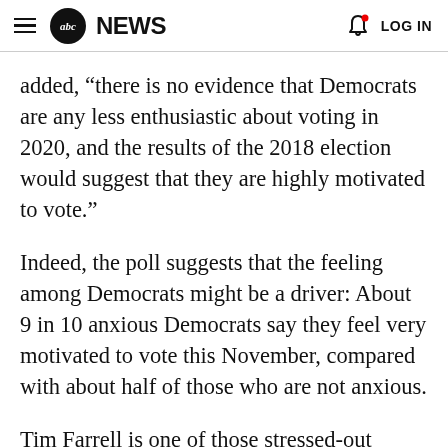abc NEWS  LOG IN
added, “there is no evidence that Democrats are any less enthusiastic about voting in 2020, and the results of the 2018 election would suggest that they are highly motivated to vote.”
Indeed, the poll suggests that the feeling among Democrats might be a driver: About 9 in 10 anxious Democrats say they feel very motivated to vote this November, compared with about half of those who are not anxious.
Tim Farrell is one of those stressed-out Democrats who have been worried since Trump won in 2016. The New model has is